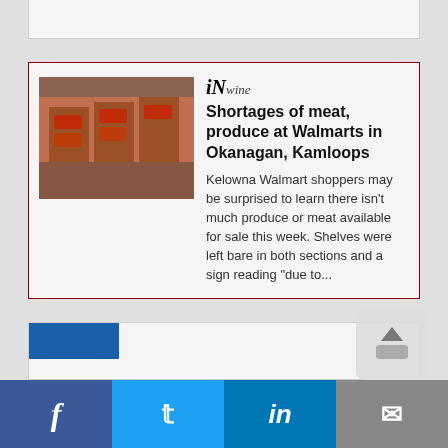[Figure (photo): Partial top card visible at top of page]
[Figure (photo): iNwine logo/brand label above article]
Shortages of meat, produce at Walmarts in Okanagan, Kamloops
Kelowna Walmart shoppers may be surprised to learn there isn't much produce or meat available for sale this week. Shelves were left bare in both sections and a sign reading “due to...
[Figure (photo): Photo of BCGEU workers on strike holding yellow signs]
Cannabis stores grapple with delivery stoppage as BCGEU workers go on strike
British Columbian cannabis stores are bracing for emptier shelves after a strike stopped the province's pot distribution centre from shipping out product. The British Columbia General...
[Figure (photo): Partially visible third article card at bottom]
Facebook Twitter LinkedIn Email social sharing bar